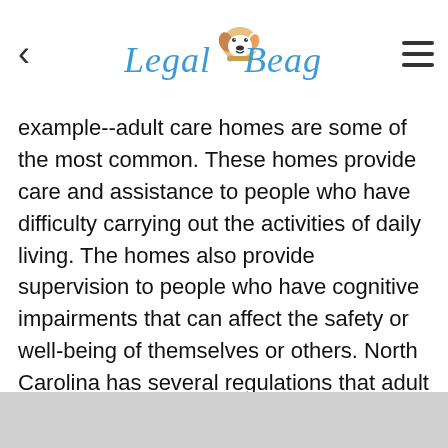Legal Beagle
example--adult care homes are some of the most common. These homes provide care and assistance to people who have difficulty carrying out the activities of daily living. The homes also provide supervision to people who have cognitive impairments that can affect the safety or well-being of themselves or others. North Carolina has several regulations that adult care homes must comply with to do business in the state.